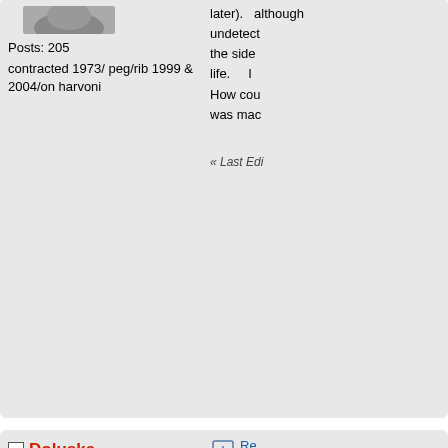[Figure (photo): Partial wolf avatar image at top]
Posts: 205
contracted 1973/ peg/rib 1999 & 2004/on harvoni
later). although undetect the side life. I How cou was mac
« Last Edi
Doluska
Member
Posts: 86
Re det
« Reply #:
Dear Lyr your stor 3 hours,
JillLynn
Member
Re det
« Reply #:
thank yo